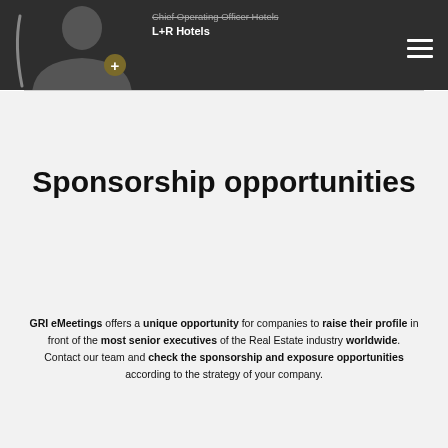Chief Operating Officer Hotels
L+R Hotels
Sponsorship opportunities
GRI eMeetings offers a unique opportunity for companies to raise their profile in front of the most senior executives of the Real Estate industry worldwide. Contact our team and check the sponsorship and exposure opportunities according to the strategy of your company.